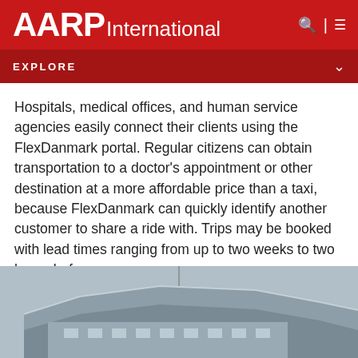AARP International
EXPLORE
Hospitals, medical offices, and human service agencies easily connect their clients using the FlexDanmark portal. Regular citizens can obtain transportation to a doctor's appointment or other destination at a more affordable price than a taxi, because FlexDanmark can quickly identify another customer to share a ride with. Trips may be booked with lead times ranging from up to two weeks to two hours before.
[Figure (photo): Partial view of a modern building exterior with a gray sky background]